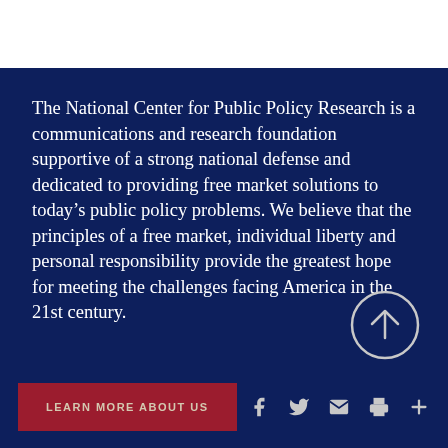The National Center for Public Policy Research is a communications and research foundation supportive of a strong national defense and dedicated to providing free market solutions to today's public policy problems. We believe that the principles of a free market, individual liberty and personal responsibility provide the greatest hope for meeting the challenges facing America in the 21st century.
LEARN MORE ABOUT US